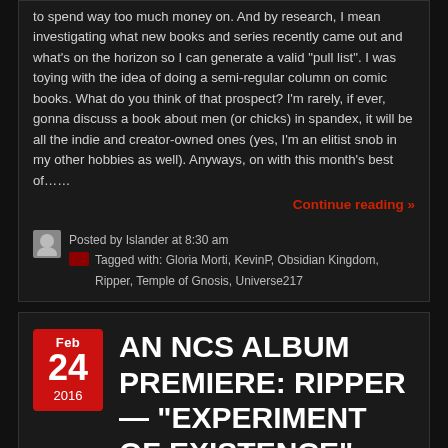to spend way too much money on. And by research, I mean investigating what new books and series recently came out and what's on the horizon so I can generate a valid “pull list”. I was toying with the idea of doing a semi-regular column on comic books. What do you think of that prospect? I’m rarely, if ever, gonna discuss a book about men (or chicks) in spandex, it will be all the indie and creator-owned ones (yes, I’m an elitist snob in my other hobbies as well). Anyways, on with this month’s best of……
Continue reading »
Posted by Islander at 8:30 am
Tagged with: Gloria Morti, KevinP, Obsidian Kingdom, Ripper, Temple of Gnosis, Universe217
AN NCS ALBUM PREMIERE: RIPPER — “EXPERIMENT OF EXISTENCE”